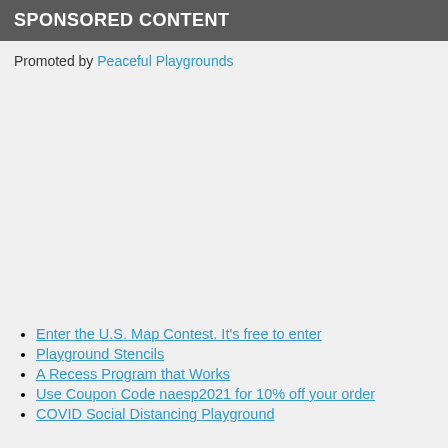SPONSORED CONTENT
Promoted by Peaceful Playgrounds
Enter the U.S. Map Contest. It's free to enter
Playground Stencils
A Recess Program that Works
Use Coupon Code naesp2021 for 10% off your order
COVID Social Distancing Playground